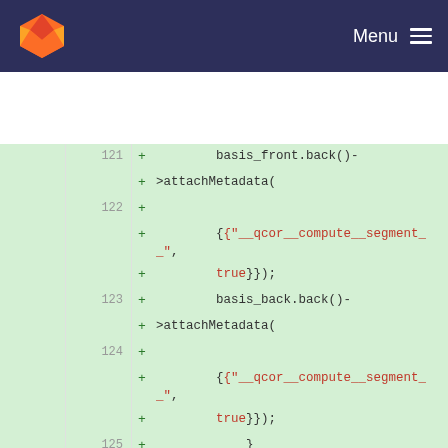GitLab navigation bar with fox logo and Menu button
[Figure (screenshot): Code diff view showing added lines (green background) and context lines. Lines 121-125 are additions with + sign. Lines 108-110/126-128 are context. A hunk header shows @@ -125,6 +143,10 @@ bool Exp::expand(const HeterogeneousMap &parameters) {. Lines 125-127/143-145 show auto c and auto t assignments.]